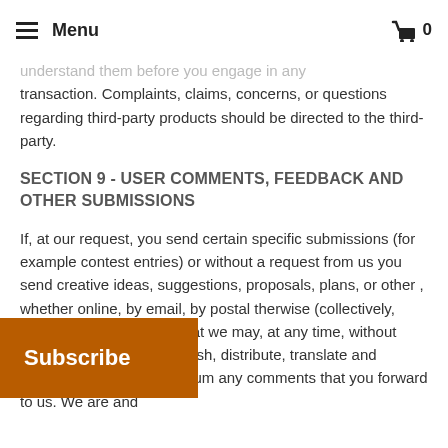Menu  0
understand them before you engage in any transaction. Complaints, claims, concerns, or questions regarding third-party products should be directed to the third-party.
SECTION 9 - USER COMMENTS, FEEDBACK AND OTHER SUBMISSIONS
If, at our request, you send certain specific submissions (for example contest entries) or without a request from us you send creative ideas, suggestions, proposals, plans, or other , whether online, by email, by postal therwise (collectively, 'comments'), you agree that we may, at any time, without restriction, edit, copy, publish, distribute, translate and otherwise use in any medium any comments that you forward to us. We are and